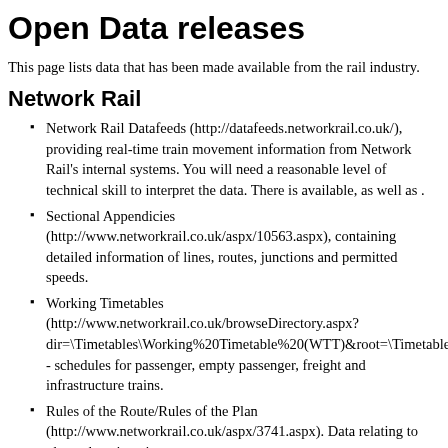Open Data releases
This page lists data that has been made available from the rail industry.
Network Rail
Network Rail Datafeeds (http://datafeeds.networkrail.co.uk/), providing real-time train movement information from Network Rail's internal systems. You will need a reasonable level of technical skill to interpret the data. There is available, as well as .
Sectional Appendicies (http://www.networkrail.co.uk/aspx/10563.aspx), containing detailed information of lines, routes, junctions and permitted speeds.
Working Timetables (http://www.networkrail.co.uk/browseDirectory.aspx?dir=\Timetables\Working%20Timetable%20(WTT)&root=\Timetables\Working%20Timetable%20(WTT)) - schedules for passenger, empty passenger, freight and infrastructure trains.
Rules of the Route/Rules of the Plan (http://www.networkrail.co.uk/aspx/3741.aspx). Data relating to planned engineering